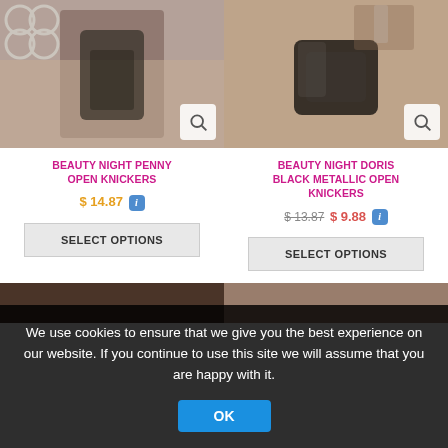[Figure (photo): Product photo of Beauty Night Penny Open Knickers (black mesh lingerie bottom, female model cropped at waist)]
[Figure (photo): Product photo of Beauty Night Doris Black Metallic Open Knickers (black metallic/leather look lingerie bottom, female model cropped at waist)]
BEAUTY NIGHT PENNY OPEN KNICKERS
BEAUTY NIGHT DORIS BLACK METALLIC OPEN KNICKERS
$ 14.87 i
$ 13.87  $ 9.88 i
SELECT OPTIONS
SELECT OPTIONS
[Figure (photo): Partial bottom image left product (cropped, dark tones)]
[Figure (photo): Partial bottom image right product (cropped, medium tones)]
We use cookies to ensure that we give you the best experience on our website. If you continue to use this site we will assume that you are happy with it.
OK